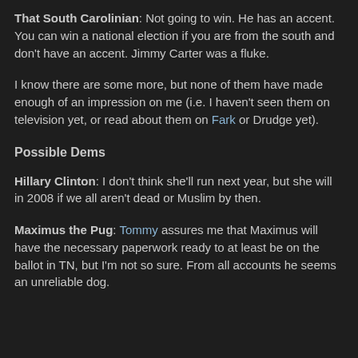That South Carolinian: Not going to win. He has an accent. You can win a national election if you are from the south and don't have an accent. Jimmy Carter was a fluke.
I know there are some more, but none of them have made enough of an impression on me (i.e. I haven't seen them on television yet, or read about them on Fark or Drudge yet).
Possible Dems
Hillary Clinton: I don't think she'll run next year, but she will in 2008 if we all aren't dead or Muslim by then.
Maximus the Pug: Tommy assures me that Maximus will have the necessary paperwork ready to at least be on the ballot in TN, but I'm not so sure. From all accounts he seems an unreliable dog.